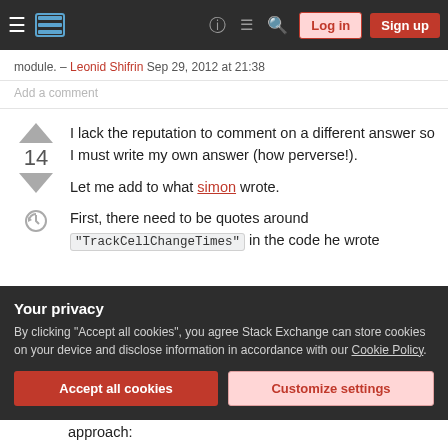Stack Exchange navigation bar with Log in and Sign up buttons
module. – Leonid Shifrin Sep 29, 2012 at 21:38
Add a comment
I lack the reputation to comment on a different answer so I must write my own answer (how perverse!).
Let me add to what simon wrote.
First, there need to be quotes around "TrackCellChangeTimes" in the code he wrote
Your privacy
By clicking "Accept all cookies", you agree Stack Exchange can store cookies on your device and disclose information in accordance with our Cookie Policy.
approach: